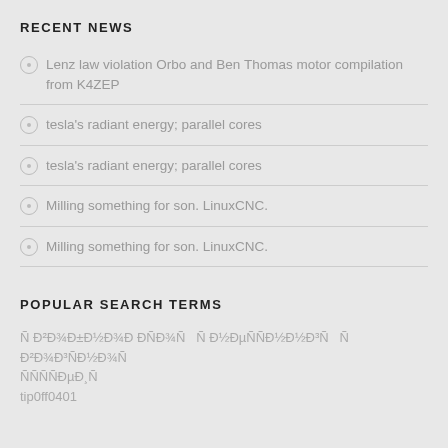RECENT NEWS
Lenz law violation Orbo and Ben Thomas motor compilation from K4ZEP
tesla's radiant energy; parallel cores
tesla's radiant energy; parallel cores
Milling something for son. LinuxCNC.
Milling something for son. LinuxCNC.
POPULAR SEARCH TERMS
Ñ  Ð²Ð¾Ð±Ð½Ð¾Ð ÐÑÐ¾Ñ  Ñ  Ð½ÐµÑÑÐ³Ð³Ñ  Ñ  Ð²Ð¾Ð³ÑÐ½Ð¾
ÑÑÑÑÐ°ÑÐ¸Ñ
tip0ff0401